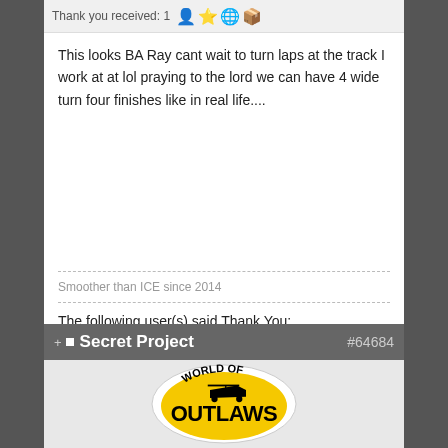Thank you received: 1 [icons]
This looks BA Ray cant wait to turn laps at the track I work at at lol praying to the lord we can have 4 wide turn four finishes like in real life....
Smoother than ICE since 2014
The following user(s) said Thank You: VLR_KingGinger
Please Log in to join the conversation.
Secret Project #64684
[Figure (logo): World of Outlaws sprint car racing logo — yellow oval with black text 'OUTLAWS' and sprint car silhouette]